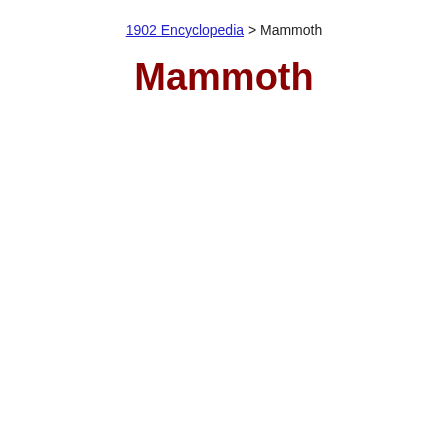1902 Encyclopedia > Mammoth
Mammoth